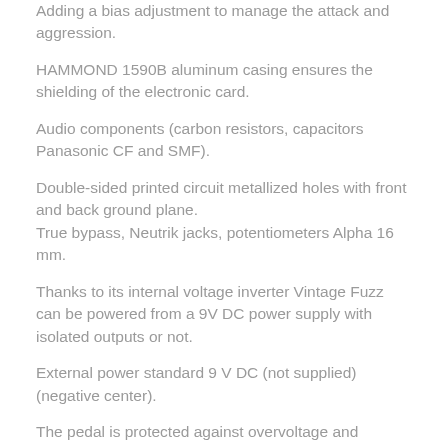Adding a bias adjustment to manage the attack and aggression.
HAMMOND 1590B aluminum casing ensures the shielding of the electronic card.
Audio components (carbon resistors, capacitors Panasonic CF and SMF).
Double-sided printed circuit metallized holes with front and back ground plane.
True bypass, Neutrik jacks, potentiometers Alpha 16 mm.
Thanks to its internal voltage inverter Vintage Fuzz can be powered from a 9V DC power supply with isolated outputs or not.
External power standard 9 V DC (not supplied) (negative center).
The pedal is protected against overvoltage and reverse polarity.
Size: 113 x 67 x 48mm Weight: 230g